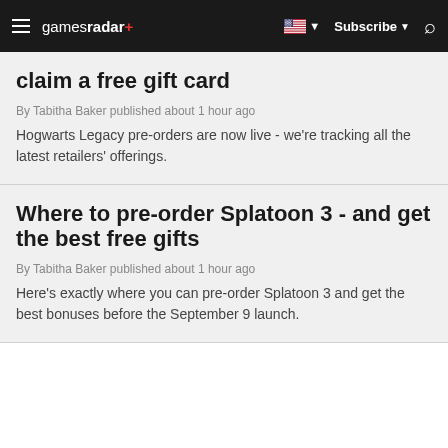gamesradar+ | Subscribe | Search
claim a free gift card
By Tabitha Baker published about 1 hour ago
Hogwarts Legacy pre-orders are now live - we're tracking all the latest retailers' offerings.
Where to pre-order Splatoon 3 - and get the best free gifts
By Tabitha Baker published about 1 hour ago
Here's exactly where you can pre-order Splatoon 3 and get the best bonuses before the September 9 launch.